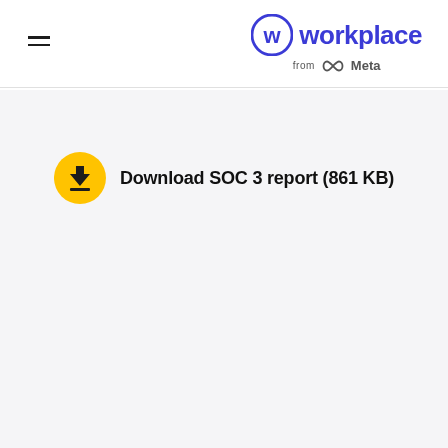[Figure (logo): Workplace from Meta logo — blue circular W icon and the word 'workplace' in blue, with 'from Meta' (Meta infinity symbol) below]
Download SOC 3 report (861 KB)